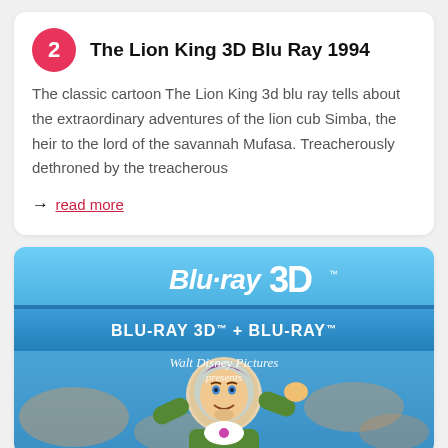The Lion King 3D Blu Ray 1994
The classic cartoon The Lion King 3d blu ray tells about the extraordinary adventures of the lion cub Simba, the heir to the lord of the savannah Mufasa. Treacherously dethroned by the treacherous
→ read more
[Figure (photo): Blu-ray 3D disc case cover showing Buzz Lightyear from Toy Story, with Walt Disney Pictures presents text, and Blu-ray 3D + Blu-ray branding on blue background]